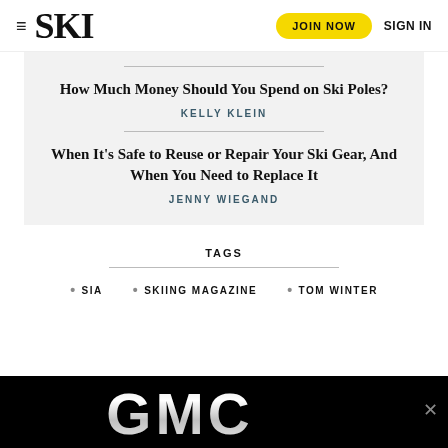SKI — JOIN NOW  SIGN IN
How Much Money Should You Spend on Ski Poles?
KELLY KLEIN
When It's Safe to Reuse or Repair Your Ski Gear, And When You Need to Replace It
JENNY WIEGAND
TAGS
• SIA
• SKIING MAGAZINE
• TOM WINTER
[Figure (other): GMC advertisement banner at bottom of page]